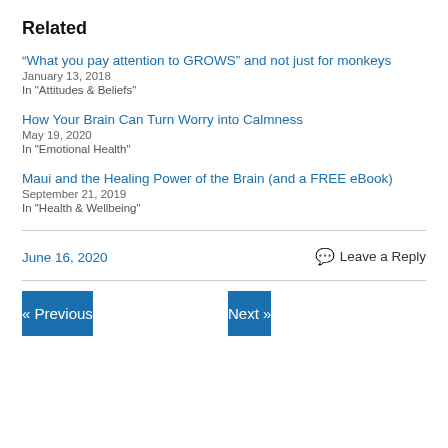Related
“What you pay attention to GROWS” and not just for monkeys
January 13, 2018
In "Attitudes & Beliefs"
How Your Brain Can Turn Worry into Calmness
May 19, 2020
In "Emotional Health"
Maui and the Healing Power of the Brain (and a FREE eBook)
September 21, 2019
In "Health & Wellbeing"
June 16, 2020
Leave a Reply
« Previous
Next »